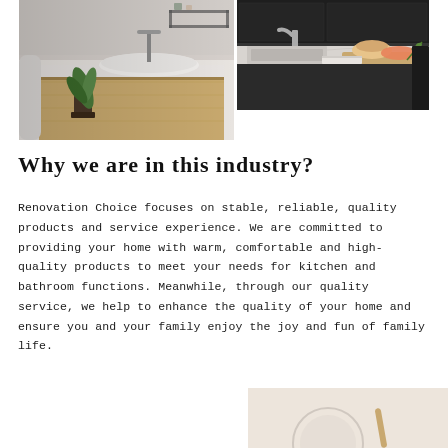[Figure (photo): Collage of two interior photos: left shows a modern bathroom with wooden vanity, white vessel sink, and a small green plant; right shows a modern kitchen countertop with a faucet, cutting board with bread and vegetables.]
Why we are in this industry?
Renovation Choice focuses on stable, reliable, quality products and service experience. We are committed to providing your home with warm, comfortable and high-quality products to meet your needs for kitchen and bathroom functions. Meanwhile, through our quality service, we help to enhance the quality of your home and ensure you and your family enjoy the joy and fun of family life.
[Figure (photo): Partial photo at bottom right showing a light-colored surface, likely a bathroom or kitchen item in beige/cream tones.]